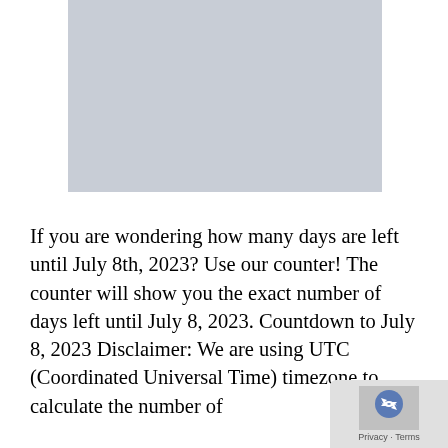[Figure (other): Gray placeholder image rectangle]
If you are wondering how many days are left until July 8th, 2023? Use our counter! The counter will show you the exact number of days left until July 8, 2023. Countdown to July 8, 2023 Disclaimer: We are using UTC (Coordinated Universal Time) timezone to calculate the number of
[Figure (other): Small overlay badge in bottom-right corner with a blue arrow/recaptcha-style icon and 'Privacy - Terms' text]